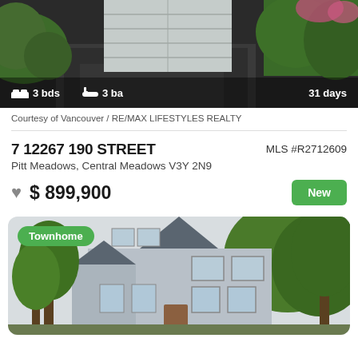[Figure (photo): Exterior photo of a home with a white garage door, wet driveway, green hedges, and pink flowers. Overlaid text shows 3 bds, 3 ba, 31 days.]
Courtesy of Vancouver / RE/MAX LIFESTYLES REALTY
7 12267 190 STREET
MLS #R2712609
Pitt Meadows, Central Meadows V3Y 2N9
$ 899,900
New
[Figure (photo): Exterior photo of a townhome with gray siding, peaked roofline, large windows, and mature trees. A green 'Townhome' badge is overlaid on the top left.]